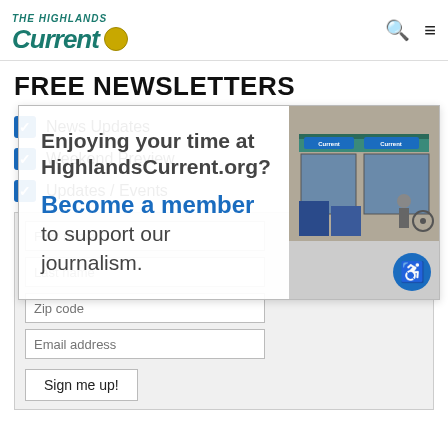The Highlands Current
FREE NEWSLETTERS
News Updates
Weekend Preview
Updates / Events
[Figure (screenshot): Newsletter signup form with fields: First name, Last name, Zip code, Email address, and Sign me up button]
[Figure (other): Overlay popup: Enjoying your time at HighlandsCurrent.org? Become a member to support our journalism. With storefront photo.]